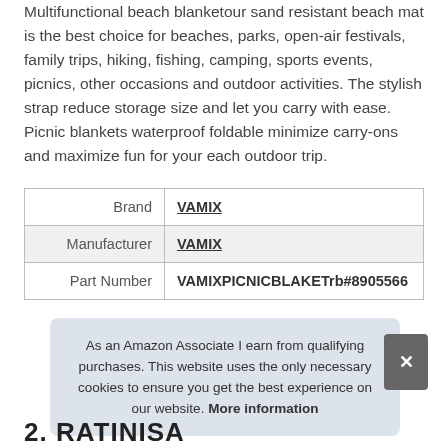Multifunctional beach blanketour sand resistant beach mat is the best choice for beaches, parks, open-air festivals, family trips, hiking, fishing, camping, sports events, picnics, other occasions and outdoor activities. The stylish strap reduce storage size and let you carry with ease. Picnic blankets waterproof foldable minimize carry-ons and maximize fun for your each outdoor trip.
|  |  |
| --- | --- |
| Brand | VAMIX |
| Manufacturer | VAMIX |
| Part Number | VAMIXPICNICBLAKETrb#8905566 |
As an Amazon Associate I earn from qualifying purchases. This website uses the only necessary cookies to ensure you get the best experience on our website. More information
2. RATINISA